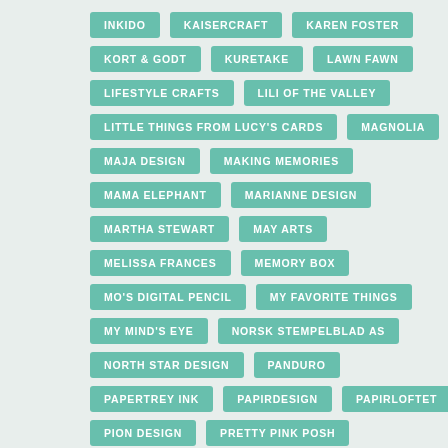INKIDO
KAISERCRAFT
KAREN FOSTER
KORT & GODT
KURETAKE
LAWN FAWN
LIFESTYLE CRAFTS
LILI OF THE VALLEY
LITTLE THINGS FROM LUCY'S CARDS
MAGNOLIA
MAJA DESIGN
MAKING MEMORIES
MAMA ELEPHANT
MARIANNE DESIGN
MARTHA STEWART
MAY ARTS
MELISSA FRANCES
MEMORY BOX
MO'S DIGITAL PENCIL
MY FAVORITE THINGS
MY MIND'S EYE
NORSK STEMPELBLAD AS
NORTH STAR DESIGN
PANDURO
PAPERTREY INK
PAPIRDESIGN
PAPIRLOFTET
PION DESIGN
PRETTY PINK POSH